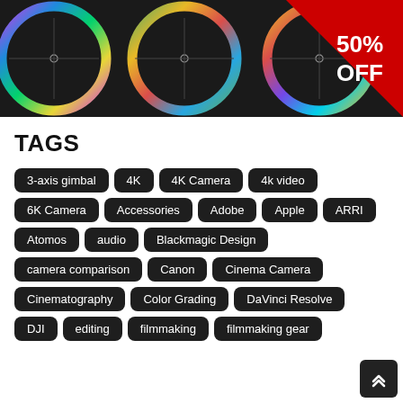[Figure (illustration): Dark banner showing color grading wheels (circular rainbow-gradient rings on dark background) with a red triangular '50% OFF' sale badge in the top-right corner.]
TAGS
3-axis gimbal
4K
4K Camera
4k video
6K Camera
Accessories
Adobe
Apple
ARRI
Atomos
audio
Blackmagic Design
camera comparison
Canon
Cinema Camera
Cinematography
Color Grading
DaVinci Resolve
DJI
editing
filmmaking
filmmaking gear